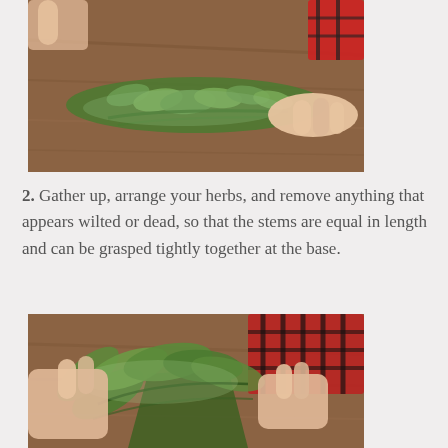[Figure (photo): A person in a red and black plaid shirt arranging herb stems including sage and rosemary on a wooden table surface.]
2. Gather up, arrange your herbs, and remove anything that appears wilted or dead, so that the stems are equal in length and can be grasped tightly together at the base.
[Figure (photo): Hands gathering and bundling herb stems together on a wooden surface, forming a tight bunch of sage, rosemary and other herbs.]